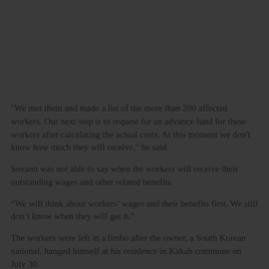"We met them and made a list of the more than 200 affected workers. Our next step is to request for an advance fund for these workers after calculating the actual costs. At this moment we don't know how much they will receive," he said.
Sovann was not able to say when the workers will receive their outstanding wages and other related benefits.
“We will think about workers’ wages and their benefits first. We still don’t know when they will get it.”
The workers were left in a limbo after the owner, a South Korean national, hanged himself at his residence in Kakab commune on July 30.
Commune police chief Phal Yuthea confirmed that 49-year-old Ju Doo Soo committed suicide in his house but did not reveal the reasons for his death.
The factory, a sub-contractor for international brand